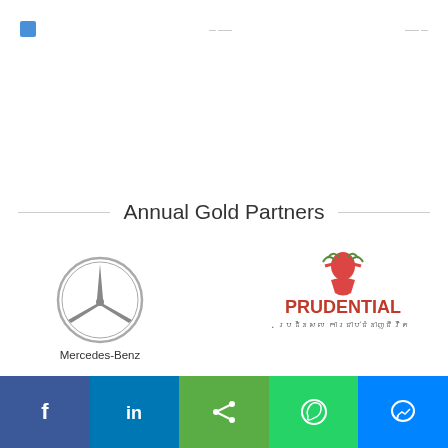[Figure (logo): Navigation bar with small logos/icons at the top of the page]
Annual Gold Partners
[Figure (logo): Mercedes-Benz logo (three-pointed star in circle) with text 'Mercedes-Benz' below]
[Figure (logo): Prudential logo with red text 'PRUDENTIAL' and Khmer script below, with illustrated figure above]
[Figure (other): Social media sharing bar with Facebook, LinkedIn, Share, WhatsApp, and Messenger buttons]